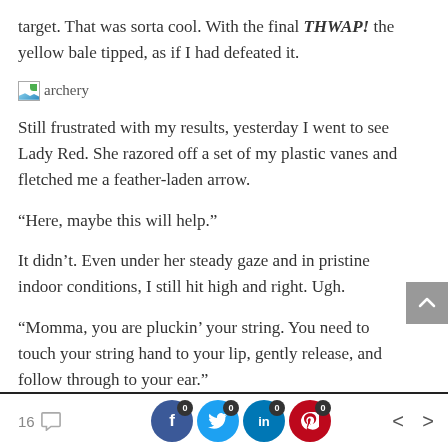target. That was sorta cool. With the final THWAP! the yellow bale tipped, as if I had defeated it.
[Figure (photo): Broken image placeholder labeled 'archery']
Still frustrated with my results, yesterday I went to see Lady Red. She razored off a set of my plastic vanes and fletched me a feather-laden arrow.
“Here, maybe this will help.”
It didn’t. Even under her steady gaze and in pristine indoor conditions, I still hit high and right. Ugh.
“Momma, you are pluckin’ your string. You need to touch your string hand to your lip, gently release, and follow through to your ear.”
16 ○ | 0 | 0 | 0 | < | >